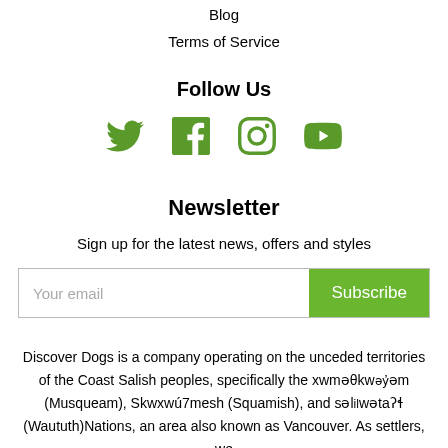Blog
Terms of Service
Follow Us
[Figure (illustration): Four social media icons in green: Twitter bird, Facebook f, Instagram camera, YouTube play button]
Newsletter
Sign up for the latest news, offers and styles
Your email [input field] Subscribe [button]
Discover Dogs is a company operating on the unceded territories of the Coast Salish peoples, specifically the xwməθkwəy̓əm (Musqueam), Skwxwú7mesh (Squamish), and səlilwətaʔɬ (Waututh)Nations, an area also known as Vancouver. As settlers, we